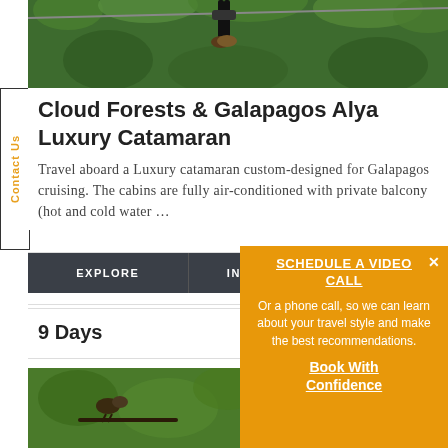[Figure (photo): Person zip-lining through lush green cloud forest trees, viewed from below]
Cloud Forests & Galapagos Alya Luxury Catamaran
Travel aboard a Luxury catamaran custom-designed for Galapagos cruising. The cabins are fully air-conditioned with private balcony (hot and cold water …
EXPLORE
INQUIRE N…
9 Days
[Figure (photo): Close-up of bird perched on branch in forest, partially visible]
SCHEDULE A VIDEO CALL

Or a phone call, so we can learn about your travel style and make the best recommendations.

Book With Confidence